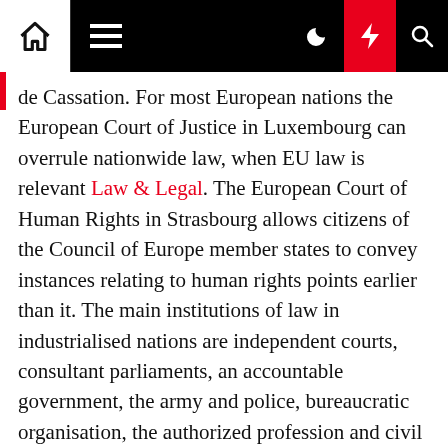Navigation bar with home, menu, moon, bolt, and search icons
de Cassation. For most European nations the European Court of Justice in Luxembourg can overrule nationwide law, when EU law is relevant Law & Legal. The European Court of Human Rights in Strasbourg allows citizens of the Council of Europe member states to convey instances relating to human rights points earlier than it. The main institutions of law in industrialised nations are independent courts, consultant parliaments, an accountable government, the army and police, bureaucratic organisation, the authorized profession and civil society itself.
Our Engaged Student Body »
While the Jesuit order thereby misplaced full control of Fordham, the board of trustees continues to take